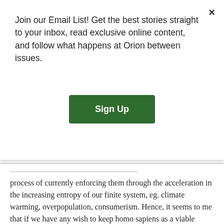Join our Email List! Get the best stories straight to your inbox, read exclusive online content, and follow what happens at Orion between issues.
Sign Up
process of currently enforcing them through the acceleration in the increasing entropy of our finite system, eg. climate warming, overpopulation, consumerism. Hence, it seems to me that if we have any wish to keep homo sapiens as a viable species then we have to recognize and respect the infinite powers inherent in these rights and try for a more symbiotic relationship. Our Courts, laws, edicts and whatever provide no answer, tis each and everyone of us that have the answers within self. The time is after midnight. Nature has shown once again unless we make peace we will be gone. Forget not, we are now in a position where we need our lifegiver and protector. She hardly needs us.
“Peace Brother”. Like Yesterday.
Garth Gander
×